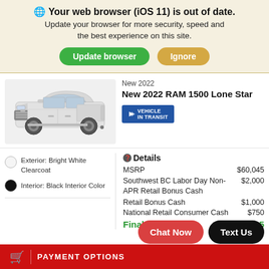🌐 Your web browser (iOS 11) is out of date. Update your browser for more security, speed and the best experience on this site.
Update browser | Ignore
New 2022
New 2022 RAM 1500 Lone Star
[Figure (other): Vehicle in transit badge (blue rectangle with arrow logo and text VEHICLE IN TRANSIT)]
[Figure (photo): White RAM 1500 truck, front three-quarter view]
Exterior: Bright White Clearcoat
Interior: Black Interior Color
Details
|  |  |
| --- | --- |
| MSRP | $60,045 |
| Southwest BC Labor Day Non-APR Retail Bonus Cash | $2,000 |
| Retail Bonus Cash | $1,000 |
| National Retail Consumer Cash | $750 |
| Final Price | $56,295 |
Chat Now
Text Us
PAYMENT OPTIONS